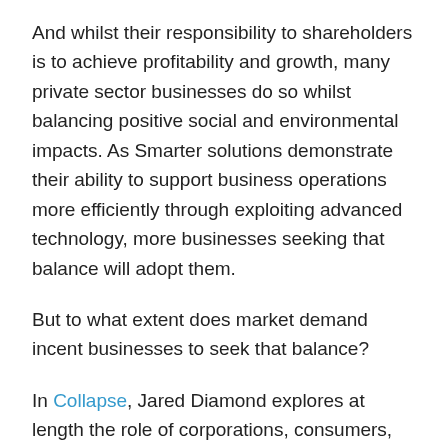And whilst their responsibility to shareholders is to achieve profitability and growth, many private sector businesses do so whilst balancing positive social and environmental impacts. As Smarter solutions demonstrate their ability to support business operations more efficiently through exploiting advanced technology, more businesses seeking that balance will adopt them.
But to what extent does market demand incent businesses to seek that balance?
In Collapse, Jared Diamond explores at length the role of corporations, consumers, communities, campaigners and political institutions in influencing whether businesses such as fishing and resource extraction are operated in the long term interests of the ecosystem containing them –